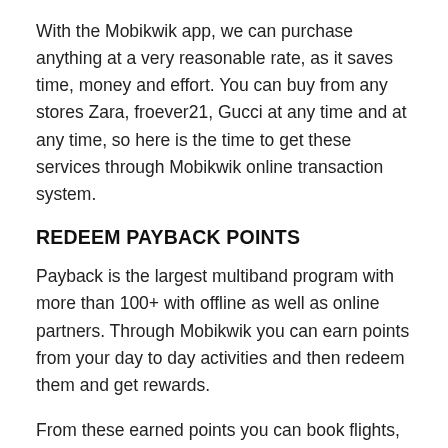With the Mobikwik app, we can purchase anything at a very reasonable rate, as it saves time, money and effort. You can buy from any stores Zara, froever21, Gucci at any time and at any time, so here is the time to get these services through Mobikwik online transaction system.
REDEEM PAYBACK POINTS
Payback is the largest multiband program with more than 100+ with offline as well as online partners. Through Mobikwik you can earn points from your day to day activities and then redeem them and get rewards.
From these earned points you can book flights,